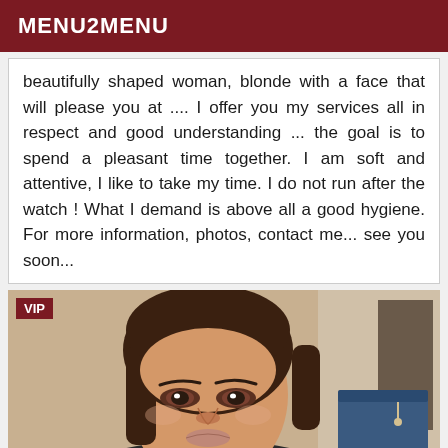MENU2MENU
beautifully shaped woman, blonde with a face that will please you at .... I offer you my services all in respect and good understanding ... the goal is to spend a pleasant time together. I am soft and attentive, I like to take my time. I do not run after the watch ! What I demand is above all a good hygiene. For more information, photos, contact me... see you soon...
[Figure (photo): Selfie photo of a young woman with dark hair, brown eyes, wearing a black top. A blue storage box is visible in the background. VIP badge in upper left corner.]